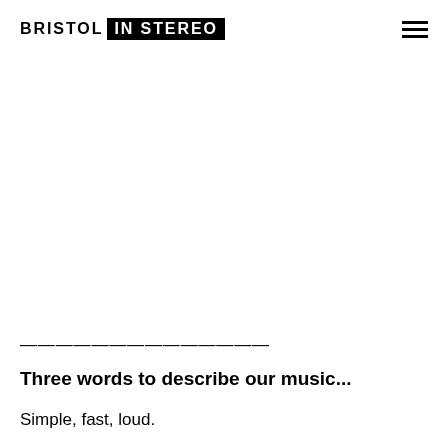BRISTOL IN STEREO
——————————————
Three words to describe our music...
Simple, fast, loud.